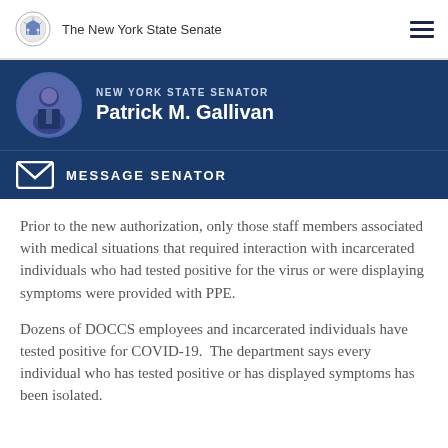The New York State Senate
[Figure (other): New York State Senator Patrick M. Gallivan profile banner with photo]
[Figure (other): Message Senator button with envelope icon]
Prior to the new authorization, only those staff members associated with medical situations that required interaction with incarcerated individuals who had tested positive for the virus or were displaying symptoms were provided with PPE.
Dozens of DOCCS employees and incarcerated individuals have tested positive for COVID-19.  The department says every individual who has tested positive or has displayed symptoms has been isolated.